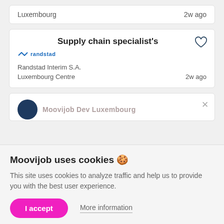Luxembourg   2w ago
Supply chain specialist's
[Figure (logo): Randstad logo in blue]
Randstad Interim S.A.
Luxembourg Centre   2w ago
[Figure (illustration): Dark circle logo and partially visible title Moovijob Dev Luxembourg with close X button]
Moovijob uses cookies 🍪
This site uses cookies to analyze traffic and help us to provide you with the best user experience.
I accept
More information
Esch sur Alzette